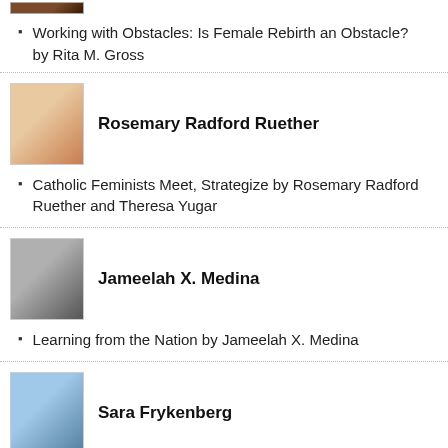[Figure (photo): Cropped top portion of a person's photo, partially visible]
Working with Obstacles: Is Female Rebirth an Obstacle? by Rita M. Gross
[Figure (photo): Photo of Rosemary Radford Ruether, an older woman smiling]
Rosemary Radford Ruether
Catholic Feminists Meet, Strategize by Rosemary Radford Ruether and Theresa Yugar
[Figure (photo): Photo of Jameelah X. Medina, a woman wearing a hijab, black and white photo]
Jameelah X. Medina
Learning from the Nation by Jameelah X. Medina
[Figure (photo): Photo of Sara Frykenberg, a woman]
Sara Frykenberg
My Daughter's Religions by Sara Frykenberg
[Figure (photo): Photo of Sarah Sentilles, a woman with blonde hair]
Sarah Sentilles
Sexist Responses to Women Writing About Religion by Sarah Sentilles